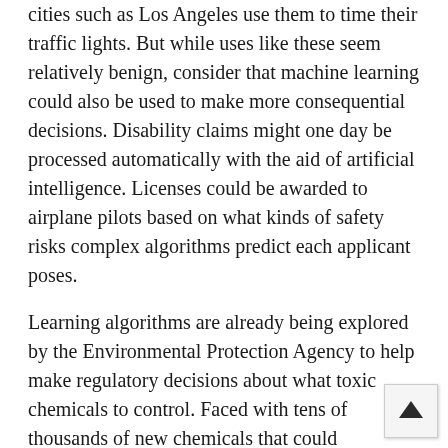cities such as Los Angeles use them to time their traffic lights. But while uses like these seem relatively benign, consider that machine learning could also be used to make more consequential decisions. Disability claims might one day be processed automatically with the aid of artificial intelligence. Licenses could be awarded to airplane pilots based on what kinds of safety risks complex algorithms predict each applicant poses.
Learning algorithms are already being explored by the Environmental Protection Agency to help make regulatory decisions about what toxic chemicals to control. Faced with tens of thousands of new chemicals that could potentially be harmful to human health, federal regulators have supported the development of a program to prioritize which of the